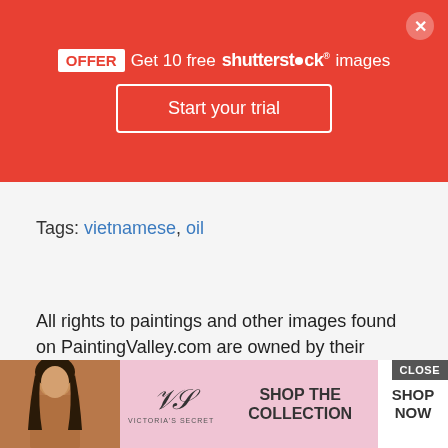[Figure (screenshot): Red Shutterstock promotional banner ad with 'OFFER Get 10 free shutterstock images' text, 'Start your trial' button, and close X button]
Tags: vietnamese, oil
All rights to paintings and other images found on PaintingValley.com are owned by their respective owners (authors, artists), and the Administration of the website doesn't bear responsibility for their use. All the materials are intended for educational purposes only. If you consider that an... you do not wa...
[Figure (screenshot): Victoria's Secret advertisement overlay with model photo, VS logo, 'SHOP THE COLLECTION' text, 'SHOP NOW' button, and CLOSE button]